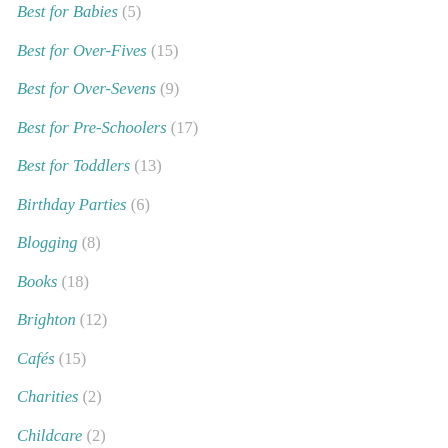Best for Babies (5)
Best for Over-Fives (15)
Best for Over-Sevens (9)
Best for Pre-Schoolers (17)
Best for Toddlers (13)
Birthday Parties (6)
Blogging (8)
Books (18)
Brighton (12)
Cafés (15)
Charities (2)
Childcare (2)